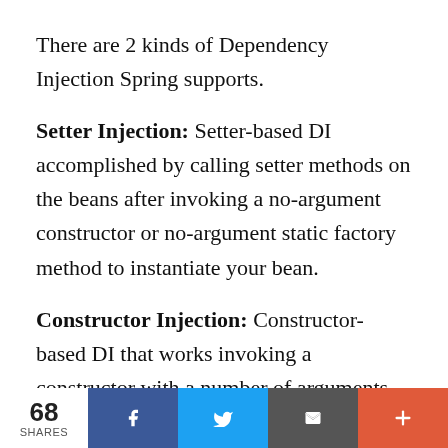There are 2 kinds of Dependency Injection Spring supports.
Setter Injection: Setter-based DI accomplished by calling setter methods on the beans after invoking a no-argument constructor or no-argument static factory method to instantiate your bean.
Constructor Injection: Constructor-based DI that works invoking a constructor with a number of arguments, each representing a dependency.
68 SHARES | Facebook | Twitter | Email | More